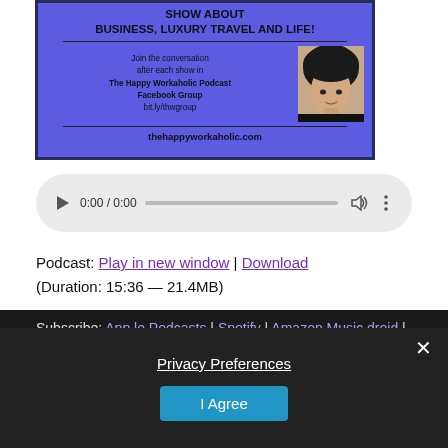[Figure (illustration): Blue podcast banner showing 'SHOW ABOUT BUSINESS, LUXURY TRAVEL AND LIFE!' with text 'Join the conversation after each show in The Happy Workaholic Podcast Facebook Group bit.ly/thwgroup' and 'thehappyworkaholic.com', with a photo of a woman with dark hair wearing black]
[Figure (screenshot): HTML5 audio player with play button, time display showing 0:00 / 0:00, progress bar, volume and options buttons on a light grey rounded background]
Podcast: Play in new window | Download
(Duration: 15:36 — 21.4MB)
Subscribe: Apple Podcasts | Spotify | Amazon Music | Android | Pandora | iHeartRadio | Stitcher | Blubrry | JioSaavn |
[Figure (screenshot): Privacy Preferences modal overlay with dark background, showing 'Privacy Preferences' title text, 'I Agree' button in blue, and X close button]